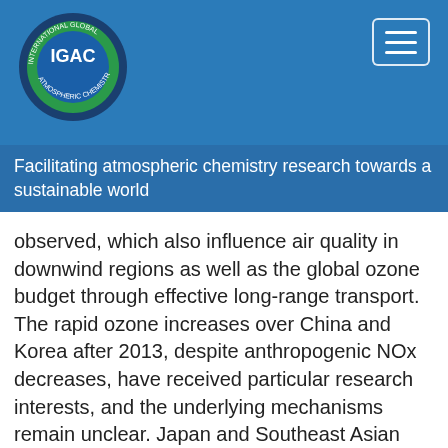[Figure (logo): IGAC (International Global Atmospheric Chemistry) circular logo with green and blue coloring]
Facilitating atmospheric chemistry research towards a sustainable world
observed, which also influence air quality in downwind regions as well as the global ozone budget through effective long-range transport. The rapid ozone increases over China and Korea after 2013, despite anthropogenic NOx decreases, have received particular research interests, and the underlying mechanisms remain unclear. Japan and Southeast Asian countries such as Malaysia also have experienced continuous increases of surface ozone over the last couple of decades. Ozone evolution and its driving factors in US and Europe have been studied comprehensively, which benefit from the sharing of extensive measurements of ozone and its precursors, and from well-developed supporting databases of regional anthropogenic emissions and meteorological parameters.